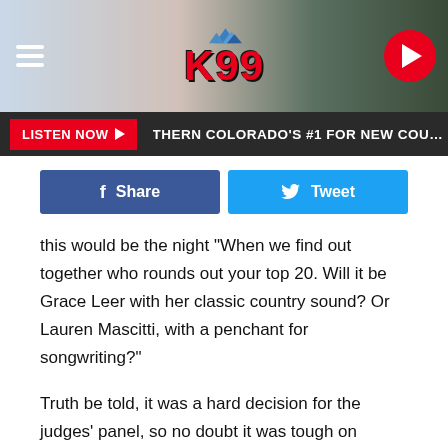[Figure (screenshot): K99 radio station website header with logo, hamburger menu, and play button on a mountain landscape background]
LISTEN NOW ▶  THERN COLORADO'S #1 FOR NEW COUNTRY  NOR
[Figure (screenshot): Facebook Share and Twitter Tweet social sharing buttons]
this would be the night "When we find out together who rounds out your top 20. Will it be Grace Leer with her classic country sound? Or Lauren Mascitti, with a penchant for songwriting?"
Truth be told, it was a hard decision for the judges' panel, so no doubt it was tough on America as well. As judge Katy Perry said simply, "We love you both." Leer's song choice went a bit out of the country realm with a rootsy, sexy, soulful "Natural Woman," which had Bryan noting that she "checked all the boxes." Meanwhile, Mascitti swerved more